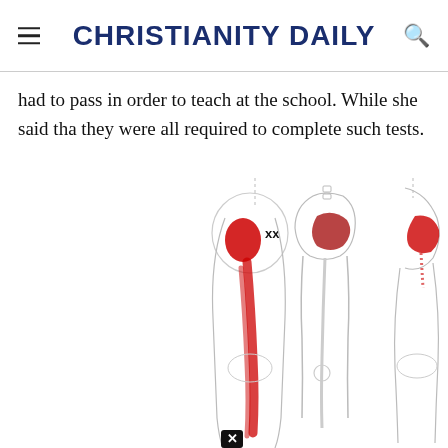CHRISTIANITY DAILY
had to pass in order to teach at the school. While she said tha they were all required to complete such tests.
[Figure (illustration): Medical illustration showing three views of human legs and hips with red highlighted areas indicating pain referral zones, likely piriformis syndrome or sciatic nerve pain. The first figure shows the back of a leg with a large red oval on the buttock and red streaking down the thigh. The second shows a skeletal/muscular anatomy view of the hip. The third shows a side view with a red area on the hip/buttock. A small black X close button appears at the bottom left of the illustration.]